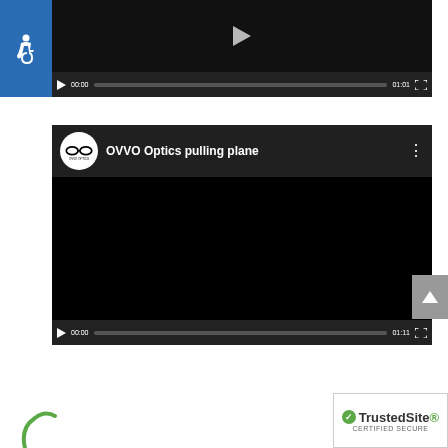[Figure (screenshot): Accessibility icon (wheelchair symbol) in blue square, top-left corner]
[Figure (screenshot): Video player 1 with dark thumbnail, play controls showing 00:00 / 01:01 timecode]
[Figure (screenshot): YouTube-style video player for 'OVVO Optics pulling plane' with OVVO Optics logo, black content area, and controls showing 00:00 / 01:11]
[Figure (screenshot): TrustedSite CERTIFIED SECURE badge, bottom-right corner]
[Figure (logo): Green logo partially visible at bottom-left]